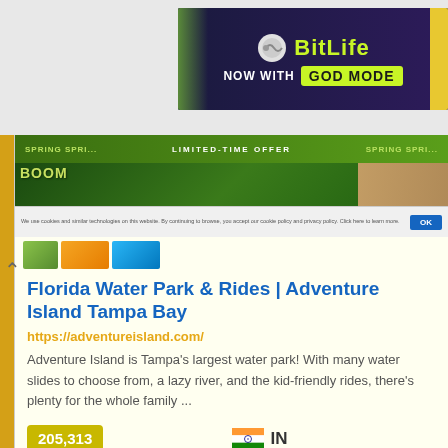[Figure (screenshot): BitLife game advertisement banner with 'NOW WITH GOD MODE' text on dark background with yellow accent]
[Figure (screenshot): Adventure Island Tampa Bay website screenshot showing green banner with LIMITED-TIME OFFER text and cookie consent bar]
Florida Water Park & Rides | Adventure Island Tampa Bay
https://adventureisland.com/
Adventure Island is Tampa's largest water park! With many water slides to choose from, a lazy river, and the kid-friendly rides, there's plenty for the whole family ...
205,313
Pageviews
IN
Top Country
Up
23h ago